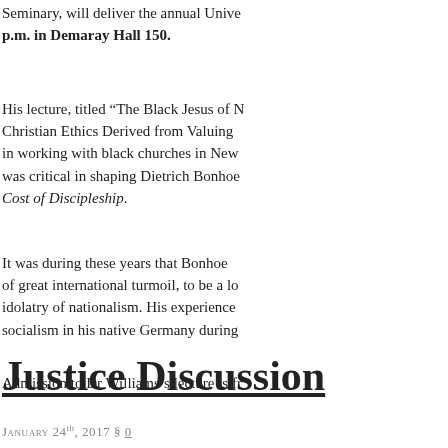Seminary, will deliver the annual Unive… p.m. in Demaray Hall 150.
His lecture, titled “The Black Jesus of N… Christian Ethics Derived from Valuing… in working with black churches in New… was critical in shaping Dietrich Bonhoe… Cost of Discipleship.
It was during these years that Bonhoe… of great international turmoil, to be a lo… idolatry of nationalism. His experience… socialism in his native Germany during…
Admission to Dr Williams’s lecture is fr…
Justice Discussion
January 24th, 2017 § 0